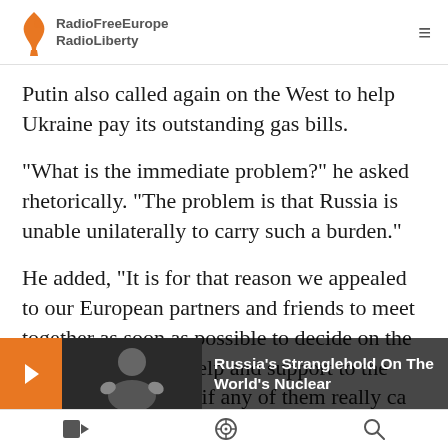RadioFreeEurope RadioLiberty
Putin also called again on the West to help Ukraine pay its outstanding gas bills.
"What is the immediate problem?" he asked rhetorically. "The problem is that Russia is unable unilaterally to carry such a burden."
He added, "It is for that reason we appealed to our European partners and friends to meet together as soon as possible to decide on the ways of rendering help and support to the Ukrainian economy if any of them really ca…
[Figure (screenshot): Overlay promotion bar with orange arrow button, a thumbnail image of a person, and text reading "Russia's Stranglehold On The World's Nuclear"]
Bottom navigation bar with video, podcast, and search icons